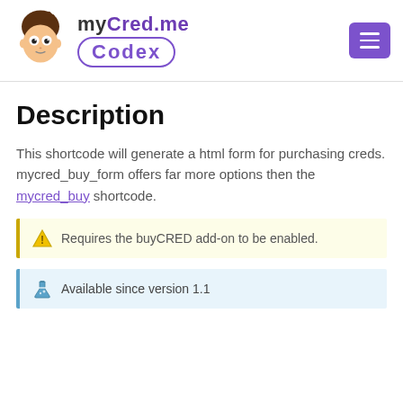[Figure (logo): myCred.me Codex logo with cartoon face avatar and purple text]
Description
This shortcode will generate a html form for purchasing creds. mycred_buy_form offers far more options then the mycred_buy shortcode.
⚠ Requires the buyCRED add-on to be enabled.
⚗ Available since version 1.1